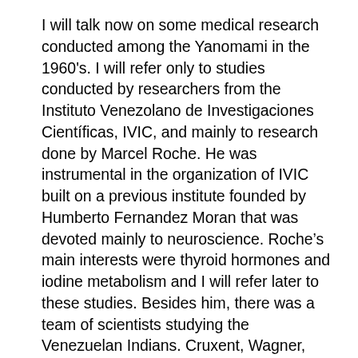I will talk now on some medical research conducted among the Yanomami in the 1960's. I will refer only to studies conducted by researchers from the Instituto Venezolano de Investigaciones Científicas, IVIC, and mainly to research done by Marcel Roche. He was instrumental in the organization of IVIC built on a previous institute founded by Humberto Fernandez Moran that was devoted mainly to neuroscience. Roche's main interests were thyroid hormones and iodine metabolism and I will refer later to these studies. Besides him, there was a team of scientists studying the Venezuelan Indians. Cruxent, Wagner, Arvelo and others from the department of anthropology, and M. Layrisse, Z Layrisse, Martinez Torres, Hurtado and Arends, Gallango and others from the Department of Experimental Medicine. I was a graduate student in that department at that time. James Neel and N Chagnon were associated to our laboratory of pathophisiology. This association started in 1966 and the main purpose of the collaboration was to conduct a comprehensive population genetic survey, hematological parameters, frequency and types of blood groups antigens and